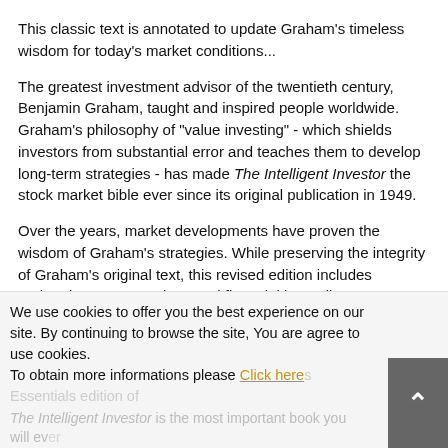This classic text is annotated to update Graham's timeless wisdom for today's market conditions...
The greatest investment advisor of the twentieth century, Benjamin Graham, taught and inspired people worldwide. Graham's philosophy of "value investing" - which shields investors from substantial error and teaches them to develop long-term strategies - has made The Intelligent Investor the stock market bible ever since its original publication in 1949.
Over the years, market developments have proven the wisdom of Graham's strategies. While preserving the integrity of Graham's original text, this revised edition includes updated commentary by noted financial journalist Jason Zweig, whose perspective incorporates the realities of today's market, draws parallels between Graham's examples and today's financial headlines, and gives readers a more thorough understanding of how to apply Graham's principles.
We use cookies to offer you the best experience on our site. By continuing to browse the site, You are agree to use cookies. To obtain more informations please Click here